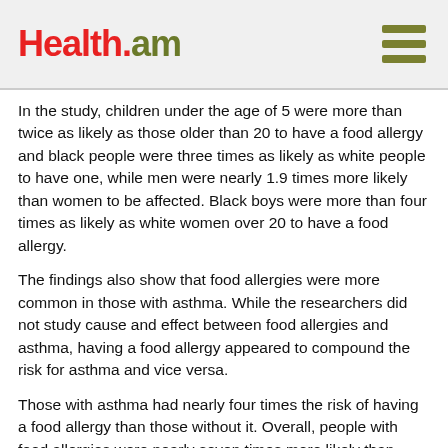Health.am
In the study, children under the age of 5 were more than twice as likely as those older than 20 to have a food allergy and black people were three times as likely as white people to have one, while men were nearly 1.9 times more likely than women to be affected. Black boys were more than four times as likely as white women over 20 to have a food allergy.
The findings also show that food allergies were more common in those with asthma. While the researchers did not study cause and effect between food allergies and asthma, having a food allergy appeared to compound the risk for asthma and vice versa.
Those with asthma had nearly four times the risk of having a food allergy than those without it. Overall, people with food allergies were nearly seven times more likely than those without them to have required ER treatment for their asthma in the 12 months leading up to the study.